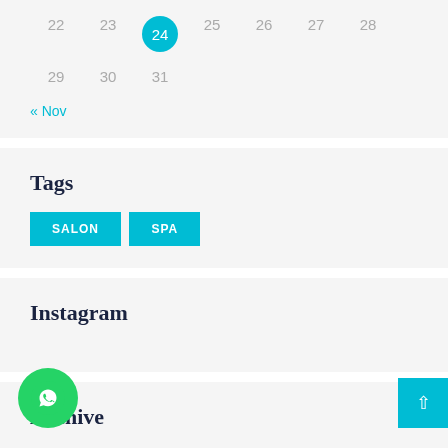| 22 | 23 | 24 | 25 | 26 | 27 | 28 |
| 29 | 30 | 31 |  |  |  |  |
« Nov
Tags
SALON
SPA
Instagram
Archive
November 2020 (2)
October 2020 (144)